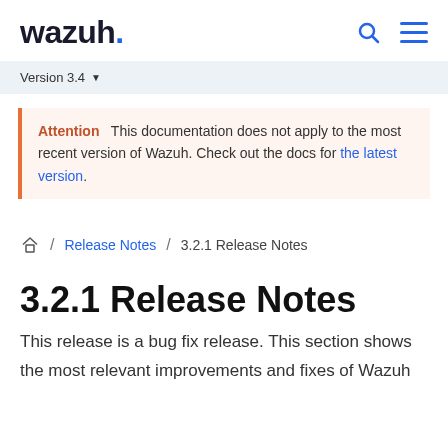wazuh.
Version 3.4
Attention   This documentation does not apply to the most recent version of Wazuh. Check out the docs for the latest version.
/ Release Notes / 3.2.1 Release Notes
3.2.1 Release Notes
This release is a bug fix release. This section shows the most relevant improvements and fixes of Wazuh